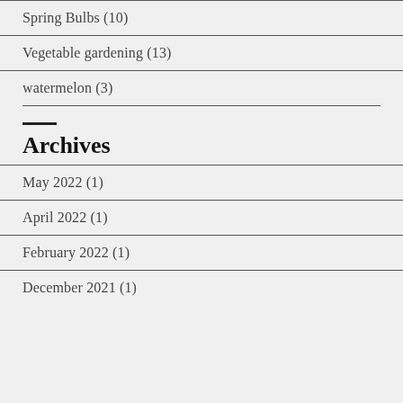Spring Bulbs (10)
Vegetable gardening (13)
watermelon (3)
Archives
May 2022 (1)
April 2022 (1)
February 2022 (1)
December 2021 (1)